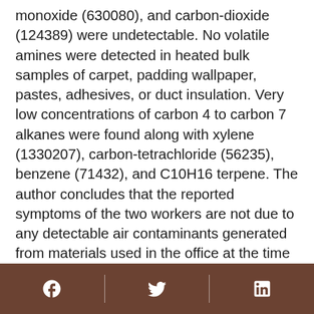monoxide (630080), and carbon-dioxide (124389) were undetectable. No volatile amines were detected in heated bulk samples of carpet, padding wallpaper, pastes, adhesives, or duct insulation. Very low concentrations of carbon 4 to carbon 7 alkanes were found along with xylene (1330207), carbon-tetrachloride (56235), benzene (71432), and C10H16 terpene. The author concludes that the reported symptoms of the two workers are not due to any detectable air contaminants generated from materials used in the office at the time of the survey.
Keywords
NIOSH-Author; HETA-81-099-908; NIOSH-Health-Hazard-Evaluation; Hazards-Unconfirmed; Region-5; Clinical-symptoms; Air-contamination; Air-quality-measurement; Chemical-analysis; Workplace-studies;
Social media links: Facebook, Twitter, LinkedIn